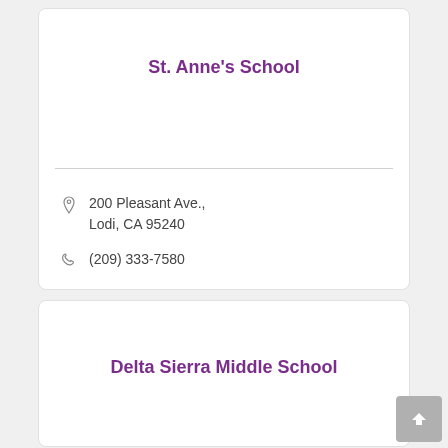St. Anne's School
200 Pleasant Ave., Lodi, CA 95240
(209) 333-7580
Delta Sierra Middle School